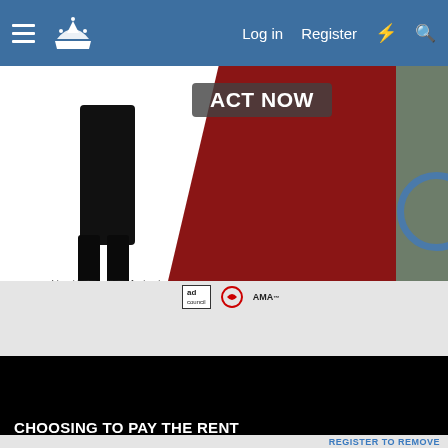[Figure (screenshot): Website navigation bar with hamburger menu, site logo/crown icon, Log in, Register, lightning bolt icon, and search icon on blue background]
[Figure (advertisement): Health advertisement banner with 'ACT NOW' button, red diagonal design, person in black clothing, text 'In partnership with the Office of Minority Health and Health Resources & Services Administration.' with ad, American Heart Association, and AMA logos]
[Figure (screenshot): Black video panel thumbnail with white bold text 'CHOOSING TO PAY THE RENT']
REGISTER TO REMOVE
Not open for further replies.
Axelmarmar
New member